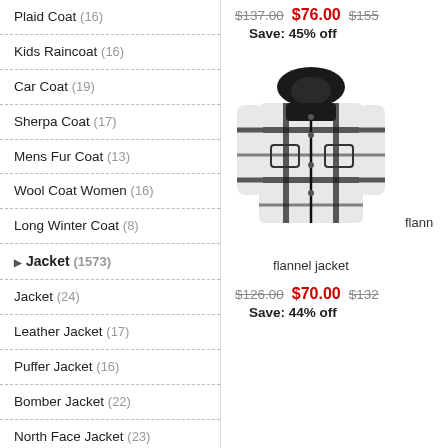Plaid Coat (16)
Kids Raincoat (16)
Car Coat (19)
Sherpa Coat (17)
Mens Fur Coat (13)
Wool Coat Women (16)
Long Winter Coat (8)
▶ Jacket (1573)
Jacket (24)
Leather Jacket (17)
Puffer Jacket (16)
Bomber Jacket (22)
North Face Jacket (23)
North Face Puffer Jacket (13)
Varsity Jacket (22)
Winter Jacket (18)
$137.00  $76.00  $155  Save: 45% off
[Figure (photo): Flannel jacket with hood, black and white plaid pattern]
flannel jacket
flann...
$126.00  $70.00  $132  Save: 44% off